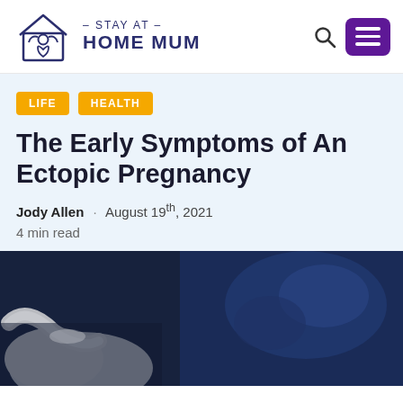[Figure (logo): Stay At Home Mum logo with house/person icon and text]
LIFE   HEALTH
The Early Symptoms of An Ectopic Pregnancy
Jody Allen · August 19th, 2021
4 min read
[Figure (photo): Blurred photo of ultrasound probe held by gloved hand with ultrasound screen in background]